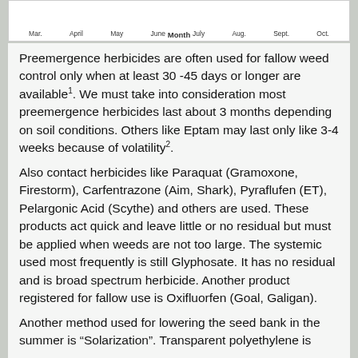[Figure (other): Partial view of a bar chart showing monthly data (Mar through Oct visible), with x-axis label 'Month']
Preemergence herbicides are often used for fallow weed control only when at least 30 -45 days or longer are available1. We must take into consideration most preemergence herbicides last about 3 months depending on soil conditions. Others like Eptam may last only like 3-4 weeks because of volatility2.
Also contact herbicides like Paraquat (Gramoxone, Firestorm), Carfentrazone (Aim, Shark), Pyraflufen (ET), Pelargonic Acid (Scythe) and others are used. These products act quick and leave little or no residual but must be applied when weeds are not too large. The systemic used most frequently is still Glyphosate. It has no residual and is broad spectrum herbicide. Another product registered for fallow use is Oxifluorfen (Goal, Galigan).
Another method used for lowering the seed bank in the summer is “Solarization”. Transparent polyethylene is